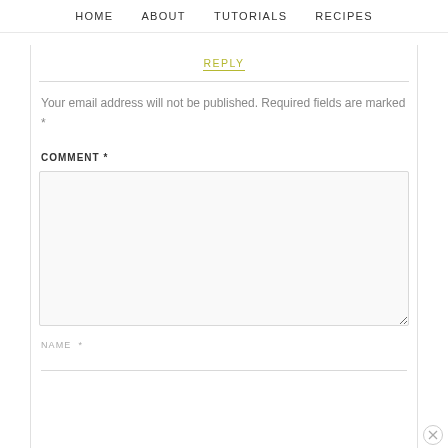HOME   ABOUT   TUTORIALS   RECIPES
REPLY
Your email address will not be published. Required fields are marked *
COMMENT *
NAME *